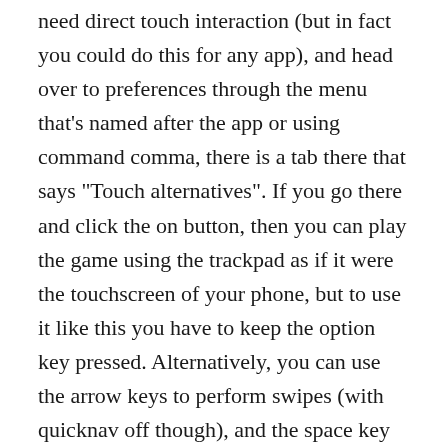need direct touch interaction (but in fact you could do this for any app), and head over to preferences through the menu that's named after the app or using command comma, there is a tab there that says "Touch alternatives". If you go there and click the on button, then you can play the game using the trackpad as if it were the touchscreen of your phone, but to use it like this you have to keep the option key pressed. Alternatively, you can use the arrow keys to perform swipes (with quicknav off though), and the space key to perform a single tap in the center of the screen, though I find the trackpad method I described above to be more reliable.
I just tried this out with AudioWizards and it